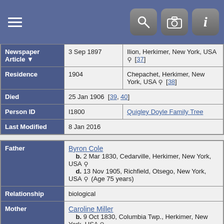[Figure (screenshot): Mobile app top navigation bar with hamburger menu and icons for search, camera, and info]
| Field | Value | Detail |
| --- | --- | --- |
| Newspaper Article | 3 Sep 1897 | Ilion, Herkimer, New York, USA [37] |
| Residence | 1904 | Chepachet, Herkimer, New York, USA [38] |
| Died | 25 Jan 1906  [39, 40] |  |
| Person ID | I1800 | Quigley Doyle Family Tree |
| Last Modified | 8 Jan 2016 |  |
| Relation | Details |
| --- | --- |
| Father | Byron Cole
b. 2 Mar 1830, Cedarville, Herkimer, New York, USA
d. 13 Nov 1905, Richfield, Otsego, New York, USA (Age 75 years) |
| Relationship | biological |
| Mother | Caroline Miller
b. 9 Oct 1830, Columbia Twp., Herkimer, New York, USA
d. 25 Oct 1904, Chepachet, Herkimer, New |